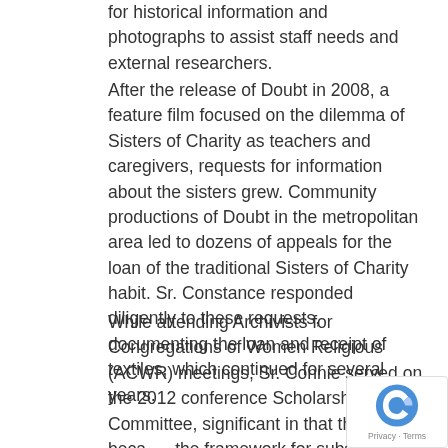for historical information and photographs to assist staff needs and external researchers.
After the release of Doubt in 2008, a feature film focused on the dilemma of Sisters of Charity as teachers and caregivers, requests for information about the sisters grew. Community productions of Doubt in the metropolitan area led to dozens of appeals for the loan of the traditional Sisters of Charity habit. Sr. Constance responded diligently to these requests, documenting the loan and receipt of textiles, which continued for several years.
While attending Archivists for Congregations of Women Religious (ACWR) meetings, Sr. Connie served on the 2012 conference Scholarship Committee, significant in that the event became the framework for subsequent conferences. Sr. Connie is remembered for her great interest in